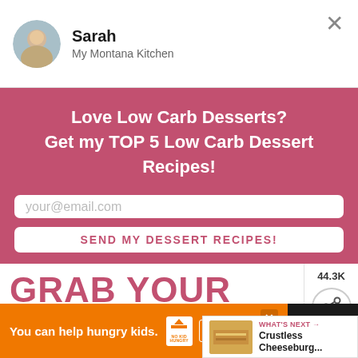Sarah
My Montana Kitchen
Love Low Carb Desserts?
Get my TOP 5 Low Carb Dessert Recipes!
your@email.com
SEND MY DESSERT RECIPES!
GRAB YOUR FREE LOW CARB MEAL PLAN
44.3K
WHAT'S NEXT → Crustless Cheeseburg...
You can help hungry kids. NOKID HUNGRY LEARN HOW